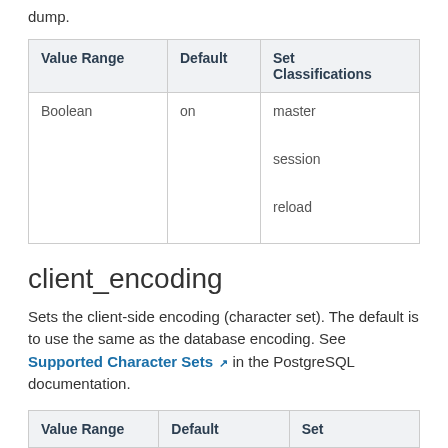dump.
| Value Range | Default | Set Classifications |
| --- | --- | --- |
| Boolean | on | master

session

reload |
client_encoding
Sets the client-side encoding (character set). The default is to use the same as the database encoding. See Supported Character Sets in the PostgreSQL documentation.
| Value Range | Default | Set |
| --- | --- | --- |